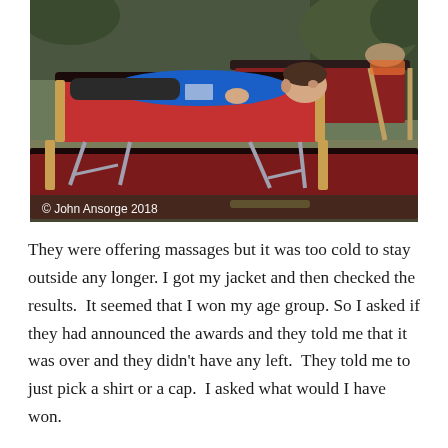[Figure (photo): A person wearing a blue long-sleeve shirt lying on a red massage table outdoors with other massage tables in the background. Trees and grass visible. Watermark reads '© John Ansorge 2018'.]
They were offering massages but it was too cold to stay outside any longer. I got my jacket and then checked the results.  It seemed that I won my age group. So I asked if they had announced the awards and they told me that it was over and they didn't have any left.  They told me to just pick a shirt or a cap.  I asked what would I have won. And they said...